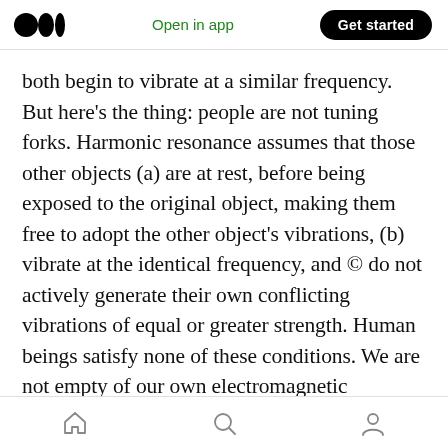Medium logo | Open in app | Get started
both begin to vibrate at a similar frequency. But here's the thing: people are not tuning forks. Harmonic resonance assumes that those other objects (a) are at rest, before being exposed to the original object, making them free to adopt the other object's vibrations, (b) vibrate at the identical frequency, and © do not actively generate their own conflicting vibrations of equal or greater strength. Human beings satisfy none of these conditions. We are not empty of our own electromagnetic vibrations or waves and we are not identically structured to resonate at
Home | Search | Profile